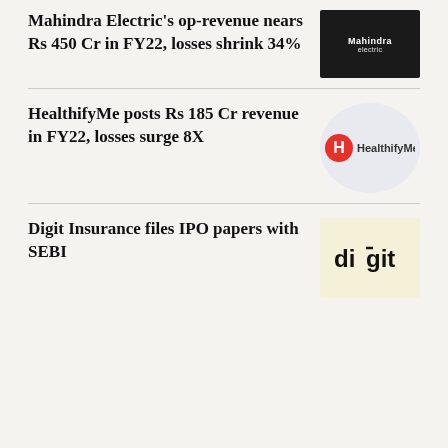Mahindra Electric's op-revenue nears Rs 450 Cr in FY22, losses shrink 34%
[Figure (logo): Mahindra Electric logo on dark background]
HealthifyMe posts Rs 185 Cr revenue in FY22, losses surge 8X
[Figure (logo): HealthifyMe logo with red circle H icon]
Digit Insurance files IPO papers with SEBI
[Figure (logo): Digit insurance logo on cream background]